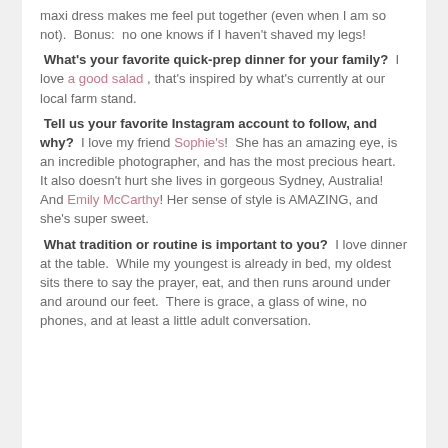maxi dress makes me feel put together (even when I am so not).  Bonus:  no one knows if I haven't shaved my legs!
What's your favorite quick-prep dinner for your family?  I love a good salad , that's inspired by what's currently at our local farm stand.
Tell us your favorite Instagram account to follow, and why?  I love my friend Sophie's!  She has an amazing eye, is an incredible photographer, and has the most precious heart.  It also doesn't hurt she lives in gorgeous Sydney, Australia!  And Emily McCarthy!  Her sense of style is AMAZING, and she's super sweet.
What tradition or routine is important to you?  I love dinner at the table.  While my youngest is already in bed, my oldest sits there to say the prayer, eat, and then runs around under and around our feet.  There is grace, a glass of wine, no phones, and at least a little adult conversation.